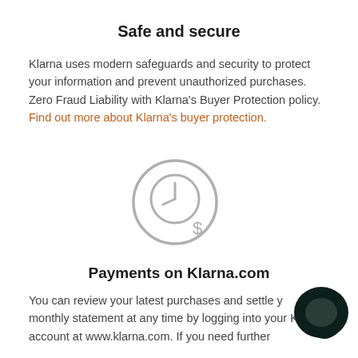Safe and secure
Klarna uses modern safeguards and security to protect your information and prevent unauthorized purchases. Zero Fraud Liability with Klarna's Buyer Protection policy. Find out more about Klarna's buyer protection.
[Figure (illustration): A circular icon showing a clock with clock hands and a dollar sign, representing payments/timing, outlined in light gray.]
Payments on Klarna.com
You can review your latest purchases and settle your monthly statement at any time by logging into your Klarna account at www.klarna.com. If you need further
[Figure (logo): Dark circular chat bubble / Klarna support icon in bottom right corner.]